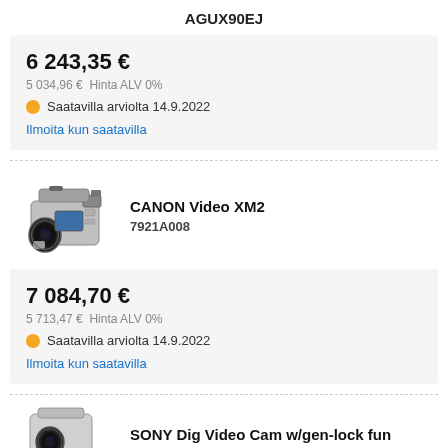AGUX90EJ
6 243,35 €
5 034,96 €  Hinta ALV 0%
Saatavilla arviolta 14.9.2022
Ilmoita kun saatavilla
[Figure (photo): Canon XM2 professional video camera]
CANON Video XM2
7921A008
7 084,70 €
5 713,47 €  Hinta ALV 0%
Saatavilla arviolta 14.9.2022
Ilmoita kun saatavilla
SONY Dig Video Cam w/gen-lock fun
[Figure (photo): Sony digital video camera partial view]